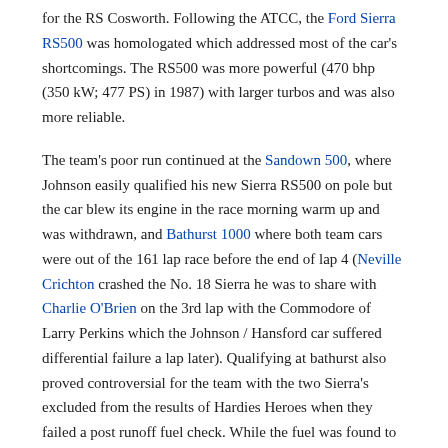for the RS Cosworth. Following the ATCC, the Ford Sierra RS500 was homologated which addressed most of the car's shortcomings. The RS500 was more powerful (470 bhp (350 kW; 477 PS) in 1987) with larger turbos and was also more reliable.
The team's poor run continued at the Sandown 500, where Johnson easily qualified his new Sierra RS500 on pole but the car blew its engine in the race morning warm up and was withdrawn, and Bathurst 1000 where both team cars were out of the 161 lap race before the end of lap 4 (Neville Crichton crashed the No. 18 Sierra he was to share with Charlie O'Brien on the 3rd lap with the Commodore of Larry Perkins which the Johnson / Hansford car suffered differential failure a lap later). Qualifying at bathurst also proved controversial for the team with the two Sierra's excluded from the results of Hardies Heroes when they failed a post runoff fuel check. While the fuel was found to be a lower grade and actually produced less power, the rules had been broken. But the year ended well, with Johnson again winning the Group A support race in Adelaide at the Australian Grand Prix in November. Johnson, who was suffering fuel feed problems